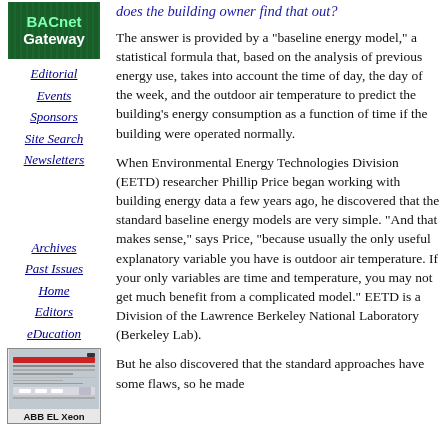[Figure (logo): BACnet Gateway logo with green circuit board background]
Editorial
Events
Sponsors
Site Search
Newsletters
Archives
Past Issues
Home
Editors
eDucation
[Figure (photo): ABB EL Xeon device hardware photo]
does the building owner find that out?
The answer is provided by a "baseline energy model," a statistical formula that, based on the analysis of previous energy use, takes into account the time of day, the day of the week, and the outdoor air temperature to predict the building's energy consumption as a function of time if the building were operated normally.
When Environmental Energy Technologies Division (EETD) researcher Phillip Price began working with building energy data a few years ago, he discovered that the standard baseline energy models are very simple. "And that makes sense," says Price, "because usually the only useful explanatory variable you have is outdoor air temperature. If your only variables are time and temperature, you may not get much benefit from a complicated model." EETD is a Division of the Lawrence Berkeley National Laboratory (Berkeley Lab).
But he also discovered that the standard approaches have some flaws, so he made